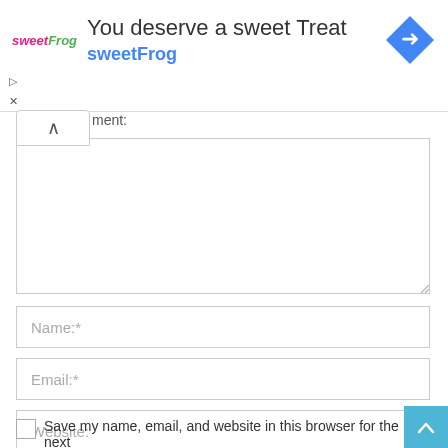[Figure (screenshot): Advertisement banner for sweetFrog: 'You deserve a sweet Treat' with sweetFrog logo and navigation diamond icon]
ment:
Name:*
Email:*
Website:
Save my name, email, and website in this browser for the next